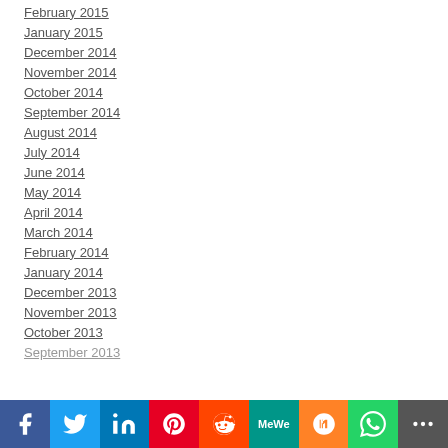February 2015
January 2015
December 2014
November 2014
October 2014
September 2014
August 2014
July 2014
June 2014
May 2014
April 2014
March 2014
February 2014
January 2014
December 2013
November 2013
October 2013
September 2013
[Figure (infographic): Social sharing bar with icons: Facebook, Twitter, LinkedIn, Pinterest, Reddit, MeWe, Mix, WhatsApp, More]